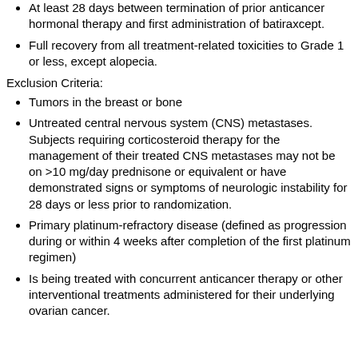At least 28 days between termination of prior anticancer hormonal therapy and first administration of batiraxcept.
Full recovery from all treatment-related toxicities to Grade 1 or less, except alopecia.
Exclusion Criteria:
Tumors in the breast or bone
Untreated central nervous system (CNS) metastases. Subjects requiring corticosteroid therapy for the management of their treated CNS metastases may not be on >10 mg/day prednisone or equivalent or have demonstrated signs or symptoms of neurologic instability for 28 days or less prior to randomization.
Primary platinum-refractory disease (defined as progression during or within 4 weeks after completion of the first platinum regimen)
Is being treated with concurrent anticancer therapy or other interventional treatments administered for their underlying ovarian cancer.